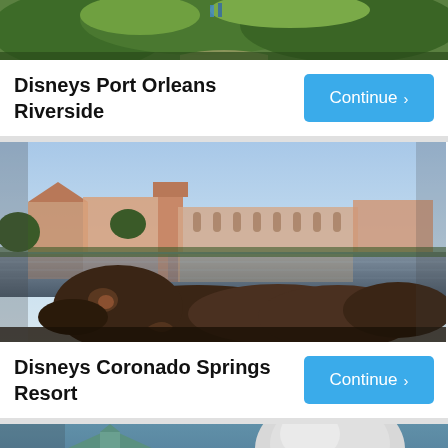[Figure (photo): Partial top image showing greenery and a pathway at Disneys Port Orleans Riverside]
Disneys Port Orleans Riverside
[Figure (photo): Disneys Coronado Springs Resort with stone sculpture in foreground and resort buildings reflected in lake at dusk]
Disneys Coronado Springs Resort
[Figure (photo): Partial bottom image showing resort buildings with teal/turquoise roofs at Disneys resort]